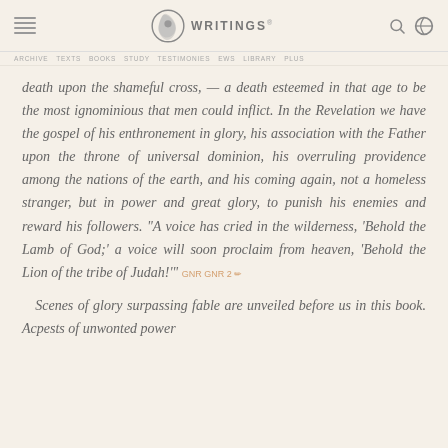EGW WRITINGS
ARCHIVE TEXTS BOOKS STUDY TESTIMONIES EBOOKS LIBRARY PLUS
death upon the shameful cross, — a death esteemed in that age to be the most ignominious that men could inflict. In the Revelation we have the gospel of his enthronement in glory, his association with the Father upon the throne of universal dominion, his overruling providence among the nations of the earth, and his coming again, not a homeless stranger, but in power and great glory, to punish his enemies and reward his followers. "A voice has cried in the wilderness, 'Behold the Lamb of God;' a voice will soon proclaim from heaven, 'Behold the Lion of the tribe of Judah!'"
Scenes of glory surpassing fable are unveiled before us in this book. Acpests of unwonted power